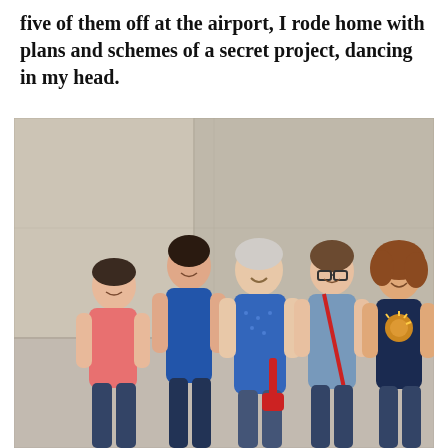five of them off at the airport, I rode home with plans and schemes of a secret project, dancing in my head.
[Figure (photo): A group photo of five people — four younger girls and one older woman — standing together in front of a large stone wall. The older woman is in the center wearing a blue patterned top. The girls are wearing various blue and pink tops and jeans, and they are smiling with arms around each other.]